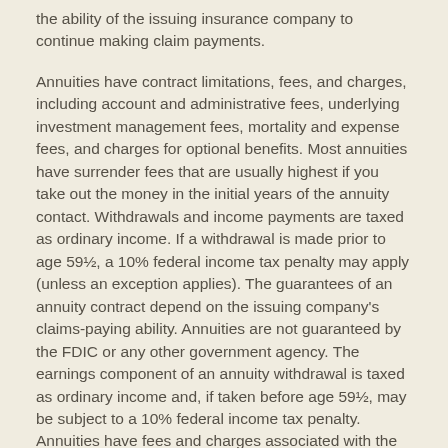the ability of the issuing insurance company to continue making claim payments.
Annuities have contract limitations, fees, and charges, including account and administrative fees, underlying investment management fees, mortality and expense fees, and charges for optional benefits. Most annuities have surrender fees that are usually highest if you take out the money in the initial years of the annuity contact. Withdrawals and income payments are taxed as ordinary income. If a withdrawal is made prior to age 59½, a 10% federal income tax penalty may apply (unless an exception applies). The guarantees of an annuity contract depend on the issuing company's claims-paying ability. Annuities are not guaranteed by the FDIC or any other government agency. The earnings component of an annuity withdrawal is taxed as ordinary income and, if taken before age 59½, may be subject to a 10% federal income tax penalty. Annuities have fees and charges associated with the